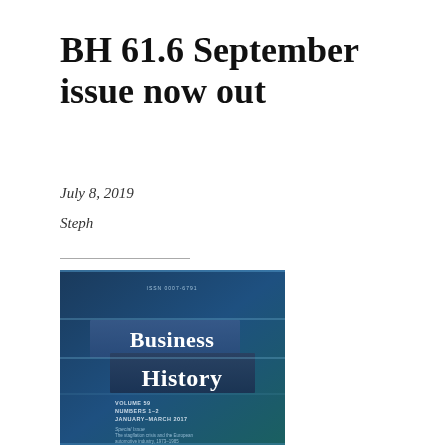BH 61.6 September issue now out
July 8, 2019
Steph
[Figure (illustration): Cover of Business History journal, blue background with 'Business History' title, Volume 59, Numbers 1-2, January-March 2017, Special Issue on The stagflation crisis and the European automotive industry, 1973-1985, Guest Editor Jordi Catalan Vidal and Eightkin Ramirez]